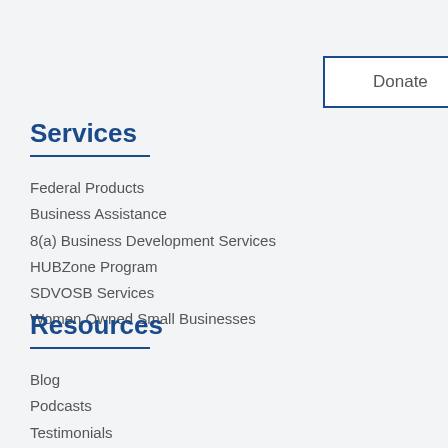Donate
Services
Federal Products
Business Assistance
8(a) Business Development Services
HUBZone Program
SDVOSB Services
Women Owned Small Businesses
Resources
Blog
Podcasts
Testimonials